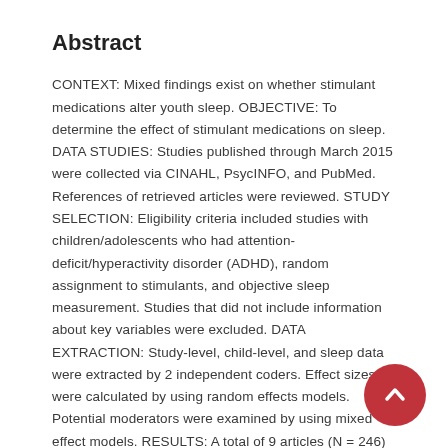Abstract
CONTEXT: Mixed findings exist on whether stimulant medications alter youth sleep. OBJECTIVE: To determine the effect of stimulant medications on sleep. DATA STUDIES: Studies published through March 2015 were collected via CINAHL, PsycINFO, and PubMed. References of retrieved articles were reviewed. STUDY SELECTION: Eligibility criteria included studies with children/adolescents who had attention-deficit/hyperactivity disorder (ADHD), random assignment to stimulants, and objective sleep measurement. Studies that did not include information about key variables were excluded. DATA EXTRACTION: Study-level, child-level, and sleep data were extracted by 2 independent coders. Effect sizes were calculated by using random effects models. Potential moderators were examined by using mixed effect models. RESULTS: A total of 9 articles (N = 246) were included. For sleep latency, the adjusted effect size (0.54) was significant, indicating that stimulants produce longer sleep latencies. Frequency of dose per day was a significant moderator. For sleep efficiency, the adjusted effect size (20.32) was significant. Significant moderators included